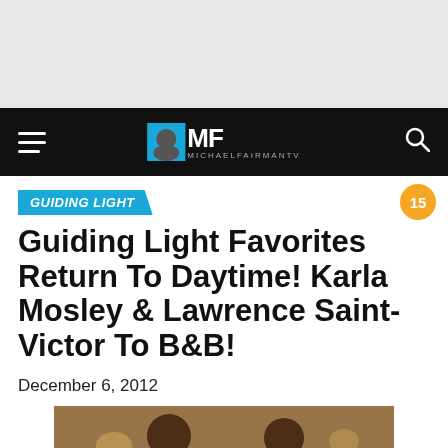[Figure (screenshot): Top grey banner area]
MF MICHAELFAIRMANTV — navigation bar with hamburger menu and search icon
GUIDING LIGHT
Guiding Light Favorites Return To Daytime! Karla Mosley & Lawrence Saint-Victor To B&B!
December 6, 2012
[Figure (photo): Photo of two people, a man and a woman, in what appears to be a restaurant or bar setting]